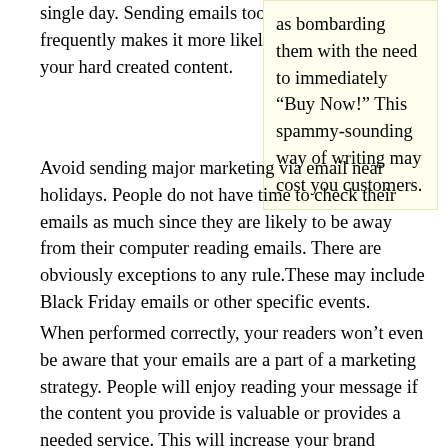single day. Sending emails too frequently makes it more likely that your hard created content.
as bombarding them with the need to immediately “Buy Now!” This spammy-sounding way of writing may cost you customers.
Avoid sending major marketing via email near holidays. People do not have time to check their emails as much since they are likely to be away from their computer reading emails. There are obviously exceptions to any rule.These may include Black Friday emails or other specific events.
When performed correctly, your readers won’t even be aware that your emails are a part of a marketing strategy. People will enjoy reading your message if the content you provide is valuable or provides a needed service. This will increase your brand recognition in a positive manner. Customers will trust you more with their time and money when you employ these methods. Remember the tips in this article so you can